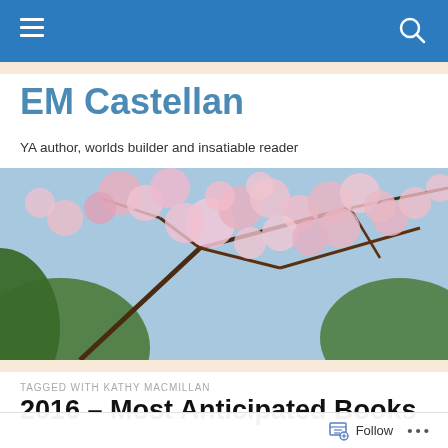EM Castellan – navigation bar
EM Castellan
YA author, worlds builder and insatiable reader
[Figure (photo): Cherry blossom tree with pink flowers against a blue sky, viewed from below]
TAGGED WITH KATHY MACMILLAN
2016 – Most Anticipated Books
Follow